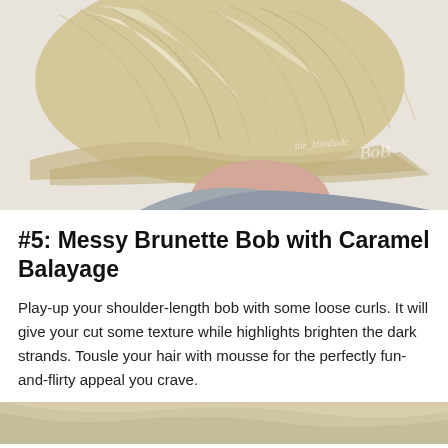[Figure (photo): Back view of a woman with a blonde bob haircut showing layered highlights, wearing a gray sweater, photographed from behind against a light background. A watermark signature is visible in the lower right of the image.]
#5: Messy Brunette Bob with Caramel Balayage
Play-up your shoulder-length bob with some loose curls. It will give your cut some texture while highlights brighten the dark strands. Tousle your hair with mousse for the perfectly fun-and-flirty appeal you crave.
[Figure (photo): Partial view of another hairstyle photo, cropped at bottom of page.]